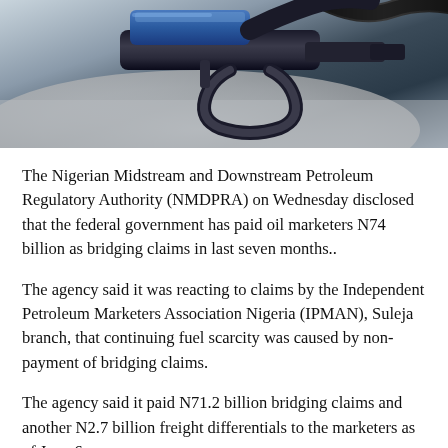[Figure (photo): Close-up photograph of a blue and black fuel pump nozzle inserted into a vehicle fuel tank opening, with hose visible in the background.]
The Nigerian Midstream and Downstream Petroleum Regulatory Authority (NMDPRA) on Wednesday disclosed that the federal government has paid oil marketers N74 billion as bridging claims in last seven months..
The agency said it was reacting to claims by the Independent Petroleum Marketers Association Nigeria (IPMAN), Suleja branch, that continuing fuel scarcity was caused by non-payment of bridging claims.
The agency said it paid N71.2 billion bridging claims and another N2.7 billion freight differentials to the marketers as of June 6.